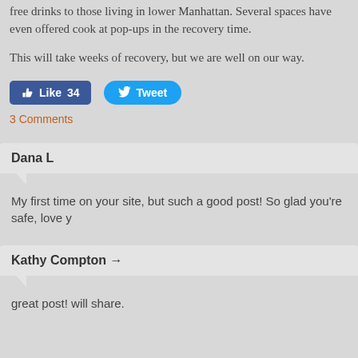free drinks to those living in lower Manhattan. Several spaces have even offered cook at pop-ups in the recovery time.
This will take weeks of recovery, but we are well on our way.
[Figure (screenshot): Facebook Like button showing 34 likes and a Twitter Tweet button]
3 Comments
Dana L
My first time on your site, but such a good post! So glad you're safe, love y
Kathy Compton →
great post! will share.